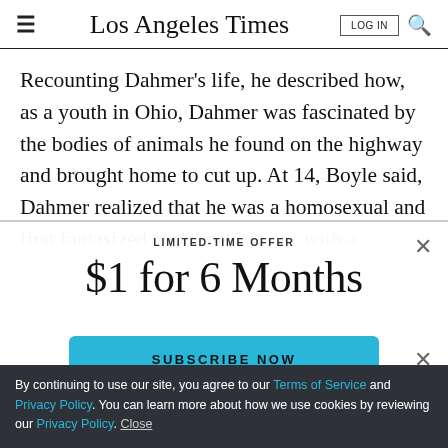Los Angeles Times
Recounting Dahmer's life, he described how, as a youth in Ohio, Dahmer was fascinated by the bodies of animals he found on the highway and brought home to cut up. At 14, Boyle said, Dahmer realized that he was a homosexual and first fantasized about having sex with a
LIMITED-TIME OFFER
$1 for 6 Months
SUBSCRIBE NOW
By continuing to use our site, you agree to our Terms of Service and Privacy Policy. You can learn more about how we use cookies by reviewing our Privacy Policy. Close